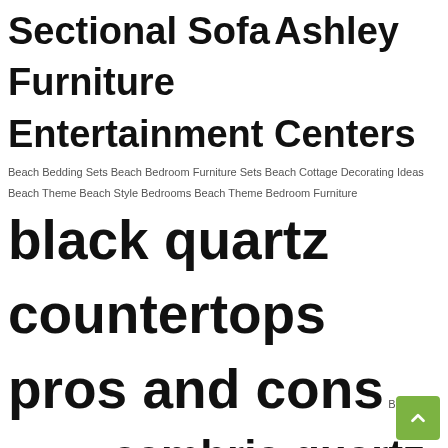[Figure (infographic): A tag cloud / word cloud containing various home furnishing and countertop related search terms, displayed in varying font sizes indicating relative frequency or importance. Largest terms include 'how to install ikea quartz countertops', 'black quartz countertops pros and cons', 'quartz countertops colors and patterns', 'quartz countertops colors for kitchens', 'Entertainment Center Wall Unit', 'kitchen countertops quartz', 'Leather Sofa Beds', 'Indoor Wall Mounted Water Fountains', 'Kids Loft Bed', 'Kitchen Counter Stools', 'cambria quartz price per square foot', 'File Cabinet Target', 'Home Bar Cabinet', 'Home Mini Bar', 'Ashley Furniture Entertainment Centers', 'Sectional Sofa'. Smaller terms include 'Beach Bedding Sets', 'Beach Bedroom Furniture Sets', 'Beach Cottage Decorating Ideas', 'Beach Theme', 'Beach Style Bedrooms', 'Beach Theme Bedroom Furniture', 'Boys Desks for Bedrooms', 'Chairs for Boys Bedrooms', 'Comforter Sets King Luxury', 'Fabric Beds', 'Ideas for Kids Bedrooms Boys', 'King Bed Comforter Set', 'King Size Comforter Sets Target', 'Locking File Cabinet Amazon', 'Locking File Cabinet IKEA', 'Nautical Bedding Sets For Adults', 'Nautical Quilts', 'Oversized King Comforter Sets', 'Pottery Barn Kids Boys Bedroom'. A green scroll-to-top button is visible at the bottom right.]